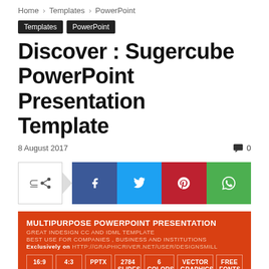Home › Templates › PowerPoint
Templates
PowerPoint
Discover : Sugercube PowerPoint Presentation Template
8 August 2017   💬 0
[Figure (infographic): Social share buttons: share icon, Facebook (f), Twitter (bird), Pinterest (p), WhatsApp (phone icon)]
[Figure (infographic): Red promotional banner: MULTIPURPOSE POWERPOINT PRESENTATION / GREAT INDESIGN CC AND IDML TEMPLATE / BEST USE FOR COMPANIES, BUSINESS AND INSTITUTIONS / Exclusively on http://graphicriver.net/user/designsmill. Badges: 16:9, 4:3, PPTX, 2784 SLIDES, 6 COLORS, VECTOR GRAPHICS, FREE FONTS]